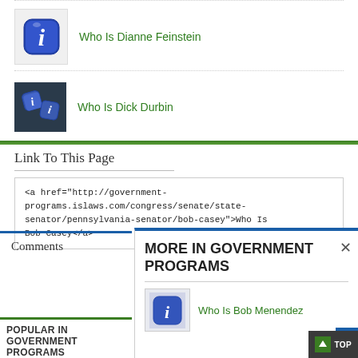Who Is Dianne Feinstein
Who Is Dick Durbin
Link To This Page
<a href="http://government-programs.islaws.com/congress/senate/state-senator/pennsylvania-senator/bob-casey">Who Is Bob Casey</a>
Comments
POPULAR IN GOVERNMENT PROGRAMS
MORE IN GOVERNMENT PROGRAMS
Who Is Bob Menendez